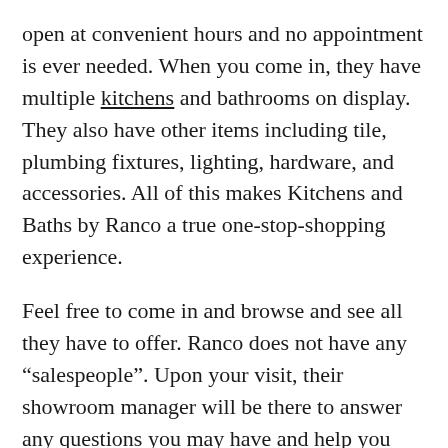open at convenient hours and no appointment is ever needed. When you come in, they have multiple kitchens and bathrooms on display. They also have other items including tile, plumbing fixtures, lighting, hardware, and accessories. All of this makes Kitchens and Baths by Ranco a true one-stop-shopping experience.
Feel free to come in and browse and see all they have to offer. Ranco does not have any “salespeople”. Upon your visit, their showroom manager will be there to answer any questions you may have and help you schedule an evaluation at your home. This evaluation will consist of the team coming to your home at whatever time is convenient to you and going over your space to find the right solutions.